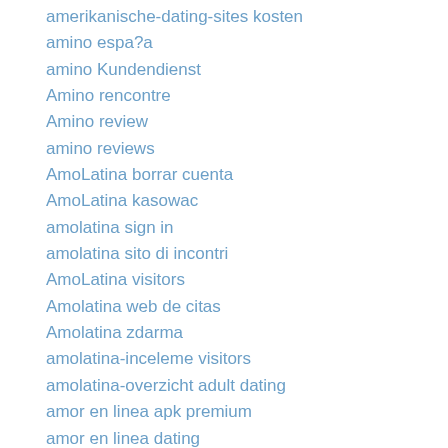amerikanische-dating-sites kosten
amino espa?a
amino Kundendienst
Amino rencontre
Amino review
amino reviews
AmoLatina borrar cuenta
AmoLatina kasowac
amolatina sign in
amolatina sito di incontri
AmoLatina visitors
Amolatina web de citas
Amolatina zdarma
amolatina-inceleme visitors
amolatina-overzicht adult dating
amor en linea apk premium
amor en linea dating
amor en linea review